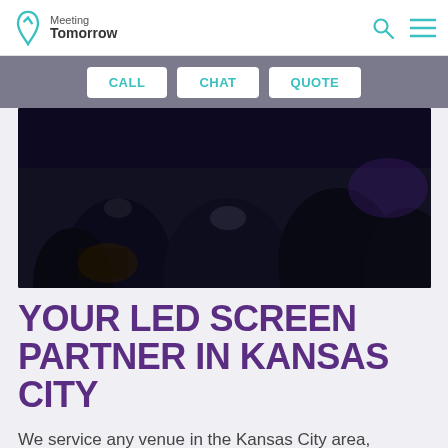Meeting Tomorrow
[Figure (screenshot): Navigation bar with CALL, CHAT, QUOTE buttons on grey background]
[Figure (photo): Dark photo of people seated at a conference/event from behind]
YOUR LED SCREEN PARTNER IN KANSAS CITY
We service any venue in the Kansas City area, including hotels, convention centers, and other meeting spaces. Whatever your needs, we'll help